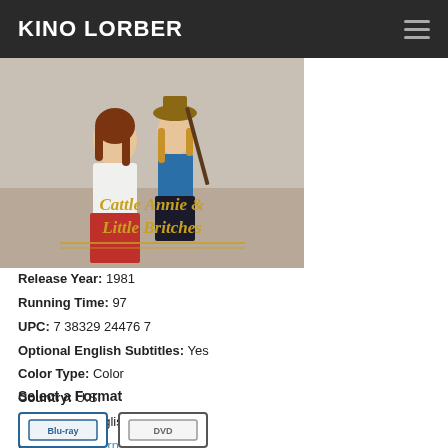KINO LORBER
[Figure (photo): Movie poster for 'Cattle Annie and Little Britches' (1981) showing two young women in Western attire with the stylized script title overlay.]
Release Year: 1981
Running Time: 97
UPC: 7 38329 24476 7
Optional English Subtitles: Yes
Color Type: Color
Country: U.S.
Language: English
Genres: Western, Drama
Select a Format